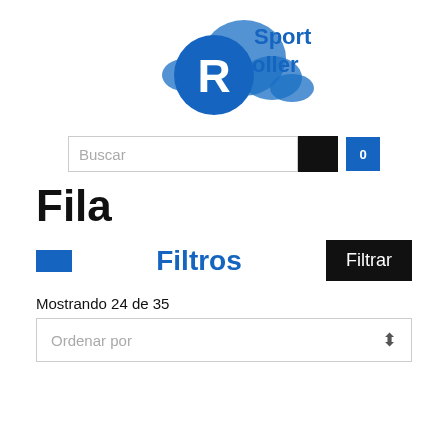[Figure (logo): Sport Roller logo: blue cloud shapes with a circular blue badge containing a white 'R', text 'Sport' and 'Roller' in blue]
[Figure (screenshot): Search bar with placeholder text 'Buscar', a black search button, and a blue cart button showing '0']
Fila
Filtros
Mostrando 24 de 35
Ordenar por